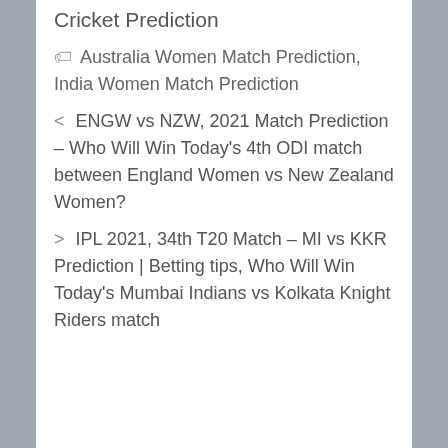Cricket Prediction
🏷 Australia Women Match Prediction, India Women Match Prediction
< ENGW vs NZW, 2021 Match Prediction – Who Will Win Today's 4th ODI match between England Women vs New Zealand Women?
> IPL 2021, 34th T20 Match – MI vs KKR Prediction | Betting tips, Who Will Win Today's Mumbai Indians vs Kolkata Knight Riders match